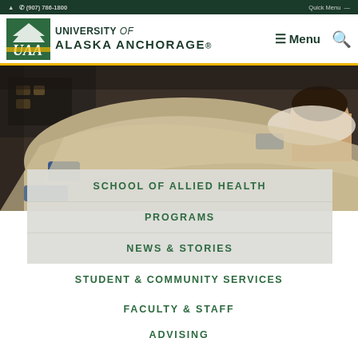(907) 786-1800   Quick Menu
[Figure (logo): University of Alaska Anchorage logo with UAA text in green box and mountain graphic]
[Figure (photo): Healthcare/massage therapy scene showing a patient lying down receiving treatment, with medical equipment visible in background]
SCHOOL OF ALLIED HEALTH
PROGRAMS
NEWS & STORIES
STUDENT & COMMUNITY SERVICES
FACULTY & STAFF
ADVISING